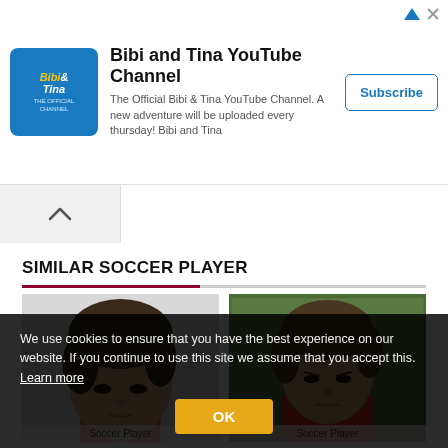[Figure (screenshot): Advertisement banner for Bibi and Tina YouTube Channel with logo, description text, and Subscribe button]
Bibi and Tina YouTube Channel
The Official Bibi & Tina YouTube Channel. A new adventure will be uploaded every thursday! Bibi and Tina
SIMILAR SOCCER PLAYER
[Figure (photo): Close-up photo of a male soccer player with dark hair]
[Figure (photo): Photo of a male soccer player in red uniform on green field]
We use cookies to ensure that you have the best experience on our website. If you continue to use this site we assume that you accept this. Learn more
OK